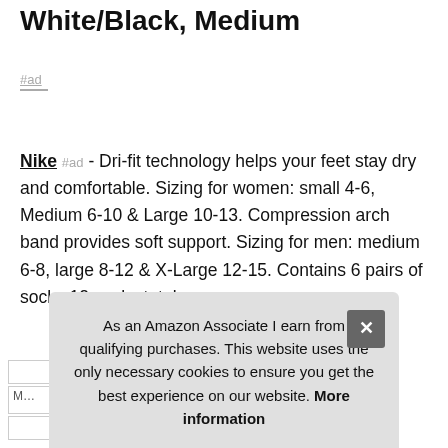White/Black, Medium
#ad
Nike #ad - Dri-fit technology helps your feet stay dry and comfortable. Sizing for women: small 4-6, Medium 6-10 & Large 10-13. Compression arch band provides soft support. Sizing for men: medium 6-8, large 8-12 & X-Large 12-15. Contains 6 pairs of socks 12 socks total.
More information #ad
As an Amazon Associate I earn from qualifying purchases. This website uses the only necessary cookies to ensure you get the best experience on our website. More information